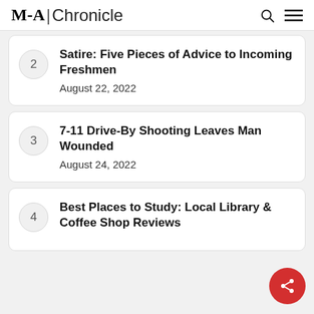M-A Chronicle
2 — Satire: Five Pieces of Advice to Incoming Freshmen — August 22, 2022
3 — 7-11 Drive-By Shooting Leaves Man Wounded — August 24, 2022
4 — Best Places to Study: Local Library & Coffee Shop Reviews